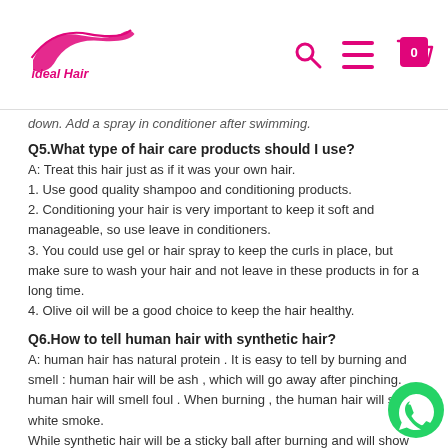Ideal Hair — logo header with search, menu, and cart icons
down. Add a spray in conditioner after swimming.
Q5.What type of hair care products should I use?
A: Treat this hair just as if it was your own hair.
1. Use good quality shampoo and conditioning products.
2. Conditioning your hair is very important to keep it soft and manageable, so use leave in conditioners.
3. You could use gel or hair spray to keep the curls in place, but make sure to wash your hair and not leave in these products in for a long time.
4. Olive oil will be a good choice to keep the hair healthy.
Q6.How to tell human hair with synthetic hair?
A: human hair has natural protein . It is easy to tell by burning and smell : human hair will be ash , which will go away after pinching. human hair will smell foul . When burning , the human hair will show white smoke.
While synthetic hair will be a sticky ball after burning and will sh... black smoke.
Moreover, human hair may have very few gray hair and split ends. It is normal and not a quality problem